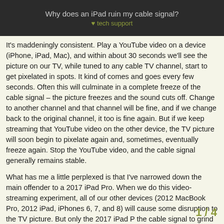Why does an iPad ruin my cable signal? tech support
It's maddeningly consistent. Play a YouTube video on a device (iPhone, iPad, Mac), and within about 30 seconds we'll see the picture on our TV, while tuned to any cable TV channel, start to get pixelated in spots. It kind of comes and goes every few seconds. Often this will culminate in a complete freeze of the cable signal – the picture freezes and the sound cuts off. Change to another channel and that channel will be fine, and if we change back to the original channel, it too is fine again. But if we keep streaming that YouTube video on the other device, the TV picture will soon begin to pixelate again and, sometimes, eventually freeze again. Stop the YouTube video, and the cable signal generally remains stable.
What has me a little perplexed is that I've narrowed down the main offender to a 2017 iPad Pro. When we do this video-streaming experiment, all of our other devices (2012 MacBook Pro, 2012 iPad, iPhones 6, 7, and 8) will cause some disruption to the TV picture. But only the 2017 iPad P the cable signal to grind to a halt, often wit
1 / 4